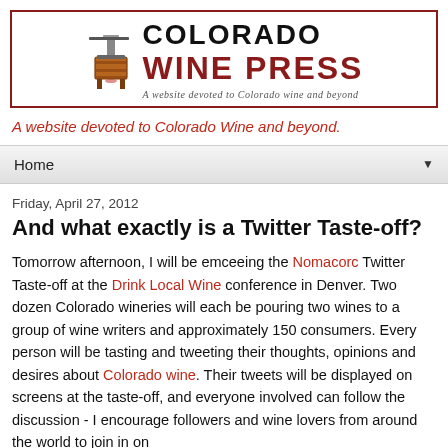[Figure (logo): Colorado Wine Press logo with wine press icon, text 'COLORADO WINE PRESS' and tagline 'A website devoted to Colorado wine and beyond']
A website devoted to Colorado Wine and beyond.
Home
Friday, April 27, 2012
And what exactly is a Twitter Taste-off?
Tomorrow afternoon, I will be emceeing the Nomacorc Twitter Taste-off at the Drink Local Wine conference in Denver. Two dozen Colorado wineries will each be pouring two wines to a group of wine writers and approximately 150 consumers. Every person will be tasting and tweeting their thoughts, opinions and desires about Colorado wine. Their tweets will be displayed on screens at the taste-off, and everyone involved can follow the discussion - I encourage followers and wine lovers from around the world to join in on